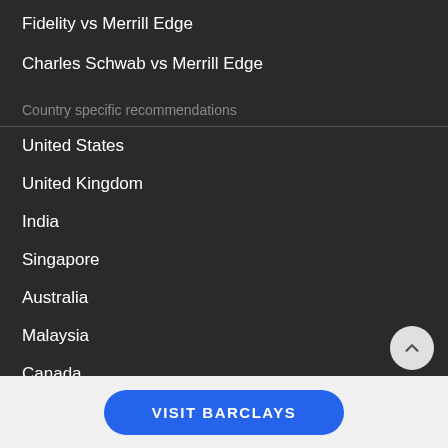Fidelity vs Merrill Edge
Charles Schwab vs Merrill Edge
Country specific recommendations
United States
United Kingdom
India
Singapore
Australia
Malaysia
Canada
South Africa
Germany
Netherlands
Regional settings
VISIT BARCLAYS